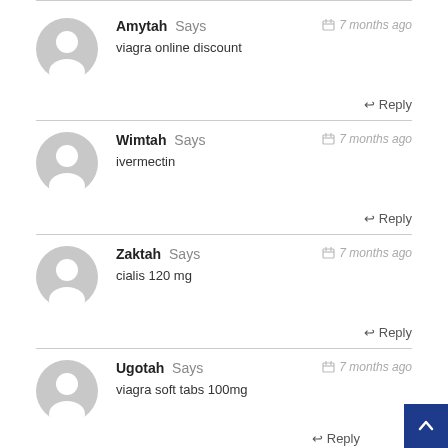Amytah Says — 7 months ago — viagra online discount — Reply
Wimtah Says — 7 months ago — ivermectin — Reply
Zaktah Says — 7 months ago — cialis 120 mg — Reply
Ugotah Says — 7 months ago — viagra soft tabs 100mg — Reply